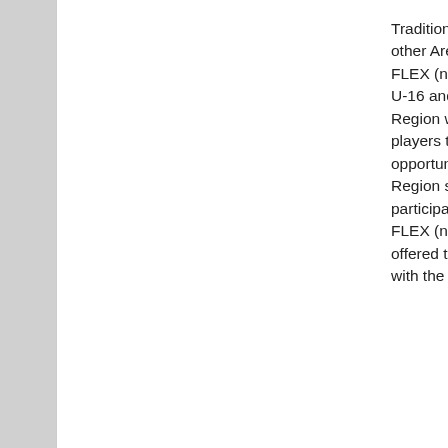Traditionally, Area Q joins with other Areas in Section 11 to offer FLEX (non-Extra) programs for U-16 and U-19 players. The Region wants U-16 and U-19 players to be given the opportunity to play. As such, the Region supports and agrees to participate in U-16 and U-19 FLEX (non-Extra) Programs offered to it including complying with the associated guidelines